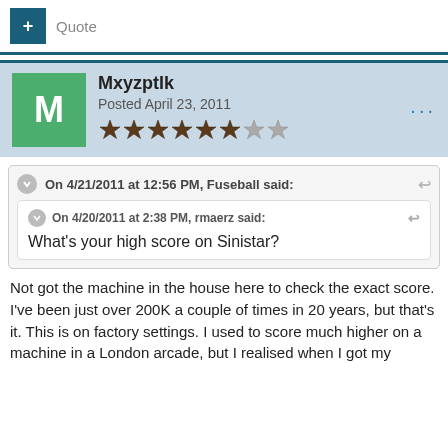+ Quote
Mxyzptlk
Posted April 23, 2011
On 4/21/2011 at 12:56 PM, Fuseball said:
On 4/20/2011 at 2:38 PM, rmaerz said:
What's your high score on Sinistar?
Not got the machine in the house here to check the exact score. I've been just over 200K a couple of times in 20 years, but that's it. This is on factory settings. I used to score much higher on a machine in a London arcade, but I realised when I got my